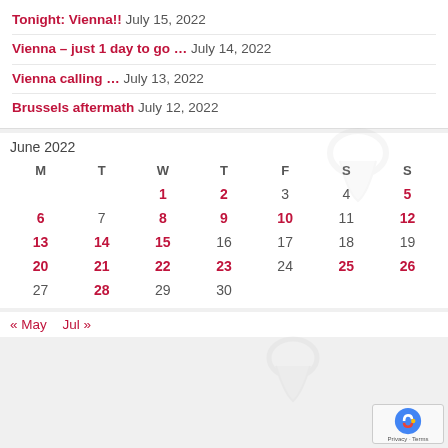Tonight: Vienna!! July 15, 2022
Vienna – just 1 day to go … July 14, 2022
Vienna calling … July 13, 2022
Brussels aftermath July 12, 2022
June 2022
| M | T | W | T | F | S | S |
| --- | --- | --- | --- | --- | --- | --- |
|  |  | 1 | 2 | 3 | 4 | 5 |
| 6 | 7 | 8 | 9 | 10 | 11 | 12 |
| 13 | 14 | 15 | 16 | 17 | 18 | 19 |
| 20 | 21 | 22 | 23 | 24 | 25 | 26 |
| 27 | 28 | 29 | 30 |  |  |  |
« May   Jul »